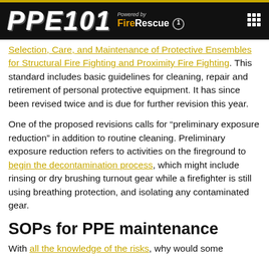PPE101 Powered by FireRescue1
Selection, Care, and Maintenance of Protective Ensembles for Structural Fire Fighting and Proximity Fire Fighting. This standard includes basic guidelines for cleaning, repair and retirement of personal protective equipment. It has since been revised twice and is due for further revision this year.
One of the proposed revisions calls for “preliminary exposure reduction” in addition to routine cleaning. Preliminary exposure reduction refers to activities on the fireground to begin the decontamination process, which might include rinsing or dry brushing turnout gear while a firefighter is still using breathing protection, and isolating any contaminated gear.
SOPs for PPE maintenance
With all the knowledge of the risks, why would some